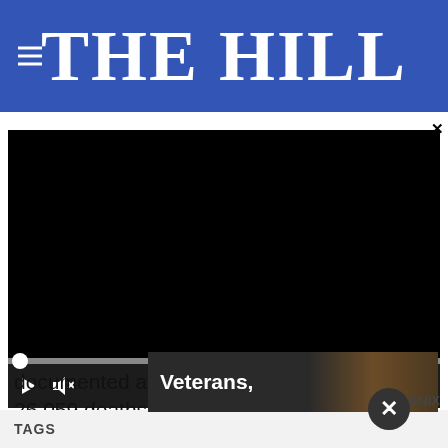THE HILL
[Figure (screenshot): Embedded video player with black screen, progress bar with white dot at start, controls showing play button, mute icon, timestamp 00:00, closed caption icon, and fullscreen icon]
documented at least 609,685 cases and 26,059 deaths, according to data from Johns Hopkins University.
TAGS
[Figure (photo): Ad banner showing text 'Veterans,' overlaid on a dark photo of a person seated, with partial text 'ENIX' visible at right]